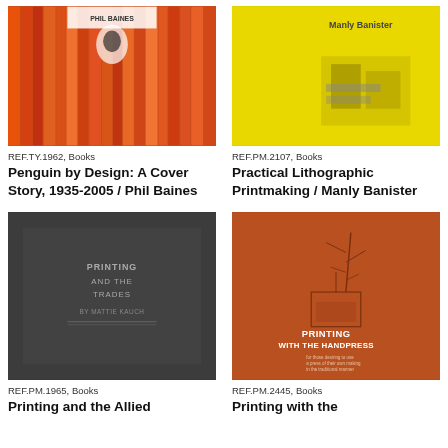[Figure (photo): Book cover of 'Penguin by Design: A Cover Story, 1935-2005 / Phil Baines' showing rows of colorful Penguin book spines]
REF.TY.1962, Books
Penguin by Design: A Cover Story, 1935-2005 / Phil Baines
[Figure (photo): Book cover of 'Practical Lithographic Printmaking / Manly Banister' with yellow background showing printmaking scene]
REF.PM.2107, Books
Practical Lithographic Printmaking / Manly Banister
[Figure (photo): Book cover of 'Printing and the Allied Trades' — dark grey/charcoal cloth hardcover]
REF.PM.1965, Books
Printing and the Allied
[Figure (photo): Book cover of 'Printing with the Handpress' — terracotta/orange cover with illustration of a handpress]
REF.PM.2445, Books
Printing with the